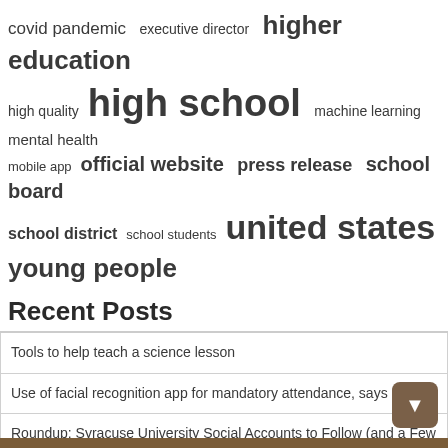[Figure (infographic): Word cloud featuring education-related terms in varying font sizes: covid pandemic, executive director, higher education, high quality, high school, machine learning, mental health, mobile app, official website, press release, school board, school district, school students, united states, young people]
Recent Posts
Tools to help teach a science lesson
Use of facial recognition app for mandatory attendance, says Botcha
Roundup: Syracuse University Social Accounts to Follow (and a Few Websites to Bookmark)
Universities do not offer places in teacher training courses | New
Why do you need a WAF for your websites?